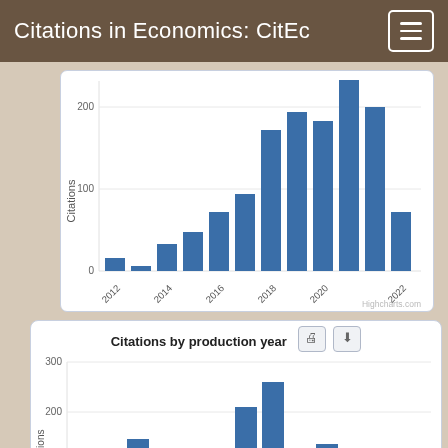Citations in Economics: CitEc
[Figure (bar-chart): Bar chart showing citations by year from 2012 to 2022]
[Figure (bar-chart): Bar chart showing citations by production year]